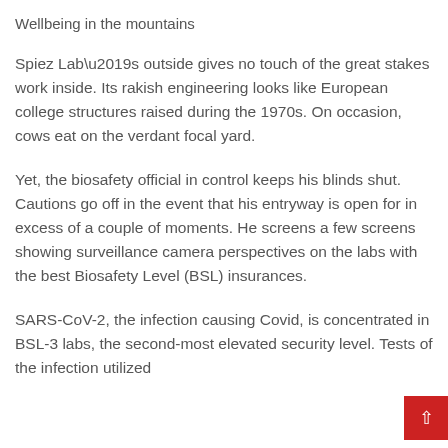Wellbeing in the mountains
Spiez Lab’s outside gives no touch of the great stakes work inside. Its rakish engineering looks like European college structures raised during the 1970s. On occasion, cows eat on the verdant focal yard.
Yet, the biosafety official in control keeps his blinds shut. Cautions go off in the event that his entryway is open for in excess of a couple of moments. He screens a few screens showing surveillance camera perspectives on the labs with the best Biosafety Level (BSL) insurances.
SARS-CoV-2, the infection causing Covid, is concentrated in BSL-3 labs, the second-most elevated security level. Tests of the infection utilized